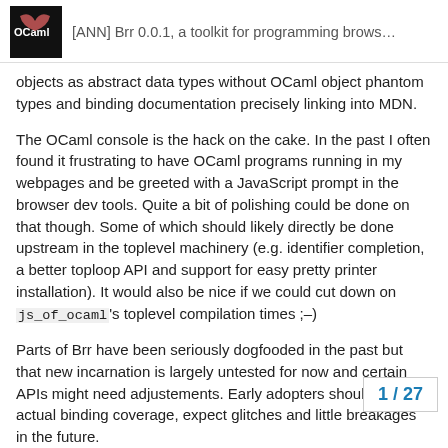[ANN] Brr 0.0.1, a toolkit for programming brows... OCaml
objects as abstract data types without OCaml object phantom types and binding documentation precisely linking into MDN.
The OCaml console is the hack on the cake. In the past I often found it frustrating to have OCaml programs running in my webpages and be greeted with a JavaScript prompt in the browser dev tools. Quite a bit of polishing could be done on that though. Some of which should likely directly be done upstream in the toplevel machinery (e.g. identifier completion, a better toploop API and support for easy pretty printer installation). It would also be nice if we could cut down on js_of_ocaml's toplevel compilation times ;–)
Parts of Brr have been seriously dogfooded in the past but that new incarnation is largely untested for now and certain APIs might need adjustements. Early adopters should study actual binding coverage, expect glitches and little breakages in the future.
The Note reactive functionality was also se